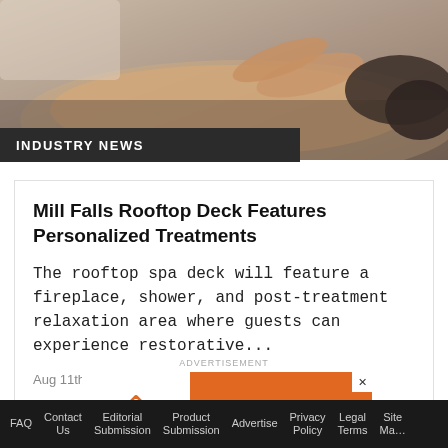[Figure (photo): Spa/massage treatment photo showing hands on a person's back, warm tones]
INDUSTRY NEWS
Mill Falls Rooftop Deck Features Personalized Treatments
The rooftop spa deck will feature a fireplace, shower, and post-treatment relaxation area where guests can experience restorative...
Aug 11th, 2022
ADVERTISEMENT
[Figure (illustration): Environ skincare advertisement with orange background, Environ logo on white left panel, text 'Fall Into A Beautiful Skin' on right]
FAQ  Contact Us  Editorial Submission  Product Submission  Advertise  Privacy Policy  Legal Terms  Site Map